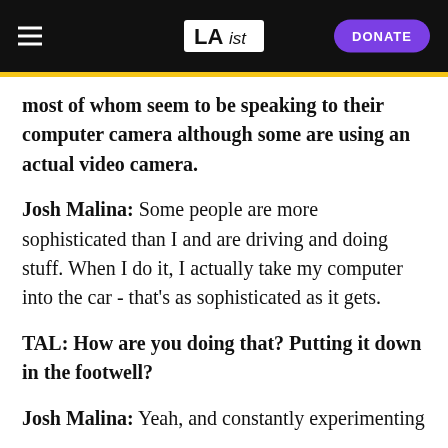LAist | DONATE
most of whom seem to be speaking to their computer camera although some are using an actual video camera.
Josh Malina: Some people are more sophisticated than I and are driving and doing stuff. When I do it, I actually take my computer into the car - that's as sophisticated as it gets.
TAL: How are you doing that? Putting it down in the footwell?
Josh Malina: Yeah, and constantly experimenting